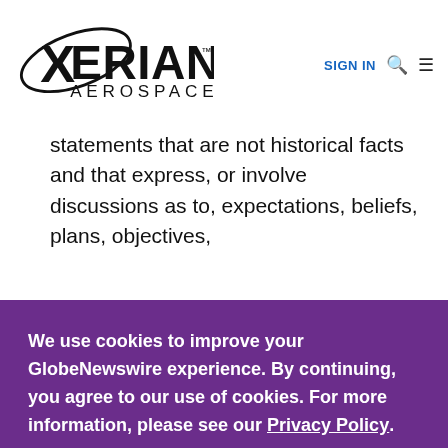[Figure (logo): Xeriant Aerospace logo with stylized orbit graphic and company name]
statements that are not historical facts and that express, or involve discussions as to, expectations, beliefs, plans, objectives,
We use cookies to improve your GlobeNewswire experience. By continuing, you agree to our use of cookies. For more information, please see our Privacy Policy.
ACCEPT